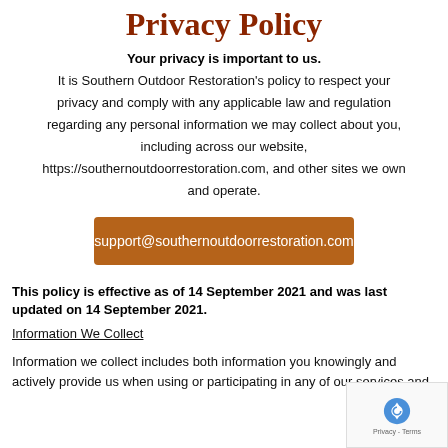Privacy Policy
Your privacy is important to us. It is Southern Outdoor Restoration's policy to respect your privacy and comply with any applicable law and regulation regarding any personal information we may collect about you, including across our website, https://southernoutdoorrestoration.com, and other sites we own and operate.
support@southernoutdoorrestoration.com
This policy is effective as of 14 September 2021 and was last updated on 14 September 2021.
Information We Collect
Information we collect includes both information you knowingly and actively provide us when using or participating in any of our services and